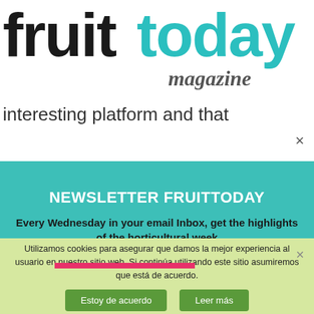[Figure (logo): fruittoday magazine logo — 'fruit' in black bold, 'today' in teal bold, 'magazine' in italic bold gray below]
interesting platform and that
NEWSLETTER FRUITTODAY
Every Wednesday in your email Inbox, get the highlights of the horticultural week
Utilizamos cookies para asegurar que damos la mejor experiencia al usuario en nuestro sitio web. Si continúa utilizando este sitio asumiremos que está de acuerdo.
Estoy de acuerdo   Leer más